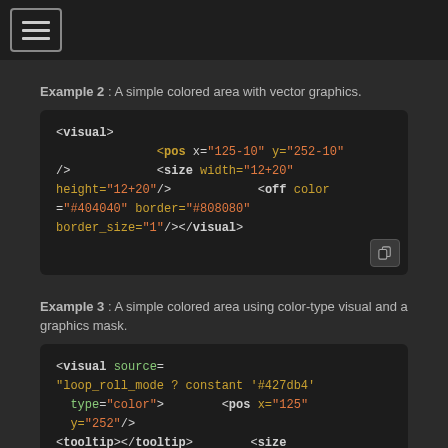Example 2 : A simple colored area with vector graphics.
[Figure (screenshot): Code block showing XML visual element with pos, size, and off color attributes: <visual> <pos x="125-10" y="252-10" /> <size width="12+20" height="12+20"/> <off color="#404040" border="#808080" border_size="1"/></visual>]
Example 3 : A simple colored area using color-type visual and a graphics mask.
[Figure (screenshot): Code block showing XML visual element with source attribute: <visual source= "loop_roll_mode ? constant '#427db4' type="color"> <pos x="125" y="252"/> <tooltip></tooltip> <size]